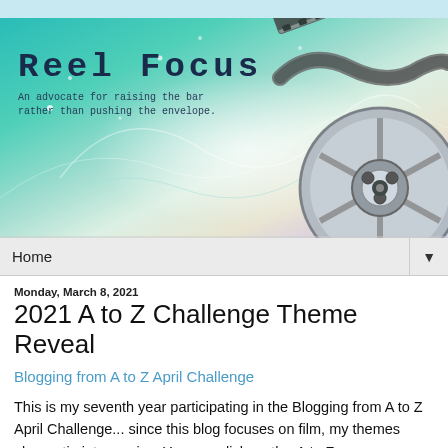[Figure (illustration): Reel Focus blog banner with film reel and decorative swirl background in teal/green/purple gradient. Blog title 'Reel Focus' and subtitle 'An advocate for raising the bar rather than pushing the envelope.' in monospace font on the left.]
Home ▼
Monday, March 8, 2021
2021 A to Z Challenge Theme Reveal
Blogging from A to Z April Challenge
This is my seventh year participating in the Blogging from A to Z April Challenge... since this blog focuses on film, my themes always tie into movies. You can click on the A to Z